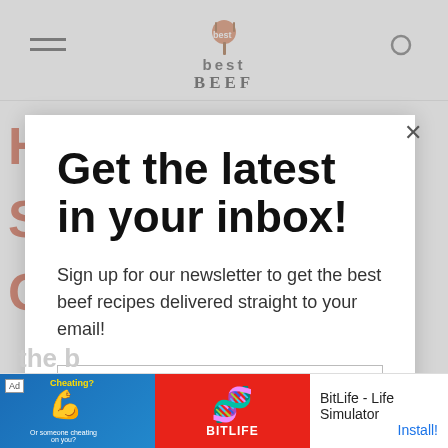[Figure (screenshot): Website navbar with hamburger menu icon on left, best beef logo in center, and search icon on right]
[Figure (screenshot): Background website content with red letters partially visible behind modal overlay]
Get the latest in your inbox!
Sign up for our newsletter to get the best beef recipes delivered straight to your email!
Email address
SUBSCRIBE
[Figure (screenshot): Ad banner at bottom: BitLife - Life Simulator advertisement with Install button]